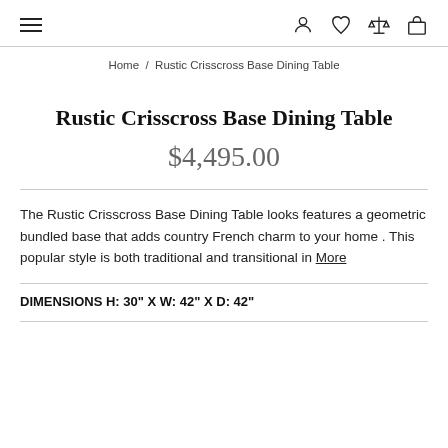≡  [user icon] [heart icon] [scale icon] [bag icon]
Home / Rustic Crisscross Base Dining Table
Rustic Crisscross Base Dining Table
$4,495.00
The Rustic Crisscross Base Dining Table looks features a geometric bundled base that adds country French charm to your home . This popular style is both traditional and transitional in More
DIMENSIONS H: 30" X W: 42" X D: 42"